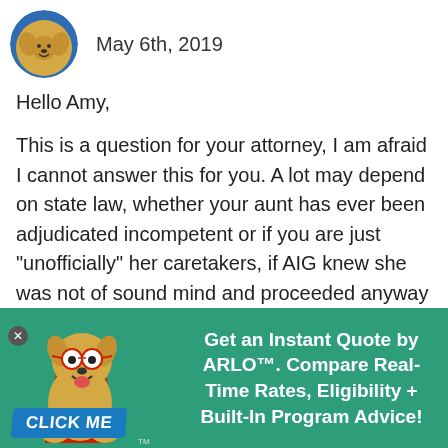May 6th, 2019
Hello Amy,
This is a question for your attorney, I am afraid I cannot answer this for you. A lot may depend on state law, whether your aunt has ever been adjudicated incompetent or if you are just "unofficially" her caretakers, if AIG knew she was not of sound mind and proceeded anyway or several other factors.
[Figure (illustration): Cartoon dog mascot with glasses and superhero cape, bottom banner with 'CLICK ME' button, on green background with text: Get an Instant Quote by ARLO™. Compare Real-Time Rates, Eligibility + Built-In Program Advice!]